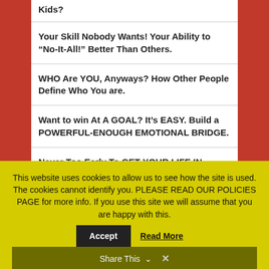Kids?
Your Skill Nobody Wants! Your Ability to “No-It-All!” Better Than Others.
WHO Are YOU, Anyways? How Other People Define Who You are.
Want to win At A GOAL? It’s EASY. Build a POWERFUL-ENOUGH EMOTIONAL BRIDGE.
Never Too Early To GET YOUR LIFE IN ORDER For Retirement
This website uses cookies to allow us to see how the site is used. The cookies cannot identify you. PLEASE READ OUR POLICIES PAGE for more info. If you use this site we will assume that you are happy with this.
Share This